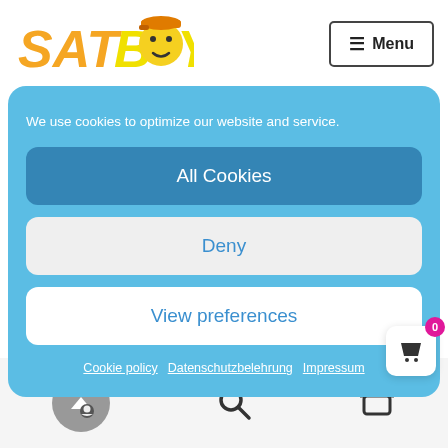[Figure (logo): SATBOY logo with orange and yellow text and emoji character]
≡ Menu
We use cookies to optimize our website and service.
All Cookies
Deny
View preferences
Cookie policy   Datenschutzbelehrung   Impressum